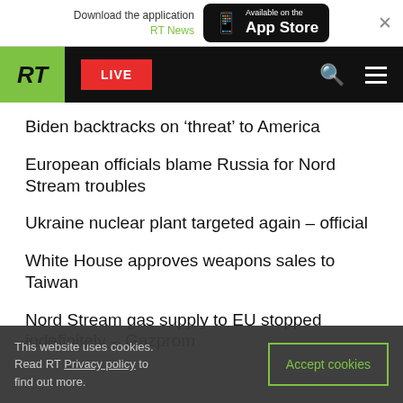[Figure (screenshot): App download banner: 'Download the application RT News' with App Store button]
[Figure (screenshot): RT News navigation bar with green RT logo, red LIVE button, search and menu icons]
Biden backtracks on ‘threat’ to America
European officials blame Russia for Nord Stream troubles
Ukraine nuclear plant targeted again – official
White House approves weapons sales to Taiwan
Nord Stream gas supply to EU stopped indefinitely – Gazprom
This website uses cookies. Read RT Privacy policy to find out more.